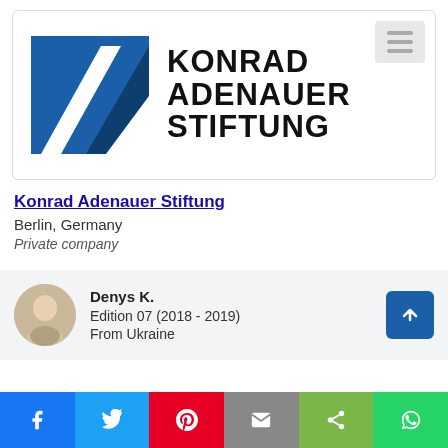[Figure (logo): Konrad Adenauer Stiftung logo with blue square/triangle graphic and bold text]
Konrad Adenauer Stiftung
Berlin, Germany
Private company
Denys K. Edition 07 (2018 - 2019) From Ukraine
[Figure (infographic): Social sharing bar with Facebook, Twitter, Pinterest, Email, Share, WhatsApp buttons]